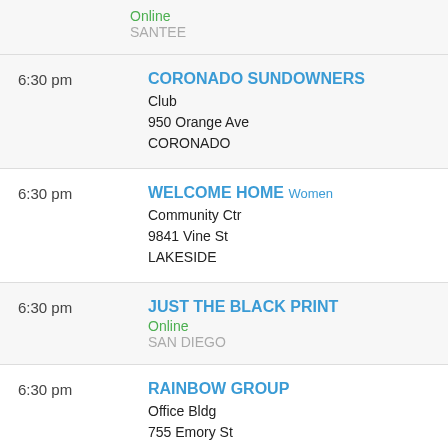Online
SANTEE
6:30 pm	CORONADO SUNDOWNERS
Club
950 Orange Ave
CORONADO
6:30 pm	WELCOME HOME Women
Community Ctr
9841 Vine St
LAKESIDE
6:30 pm	JUST THE BLACK PRINT
Online
SAN DIEGO
6:30 pm	RAINBOW GROUP
Office Bldg
755 Emory St